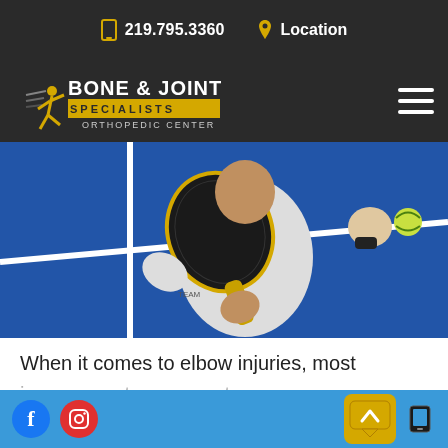📱 219.795.3360   📍 Location
[Figure (logo): Bone & Joint Specialists Orthopedic Center logo with runner figure and yellow bar]
[Figure (photo): A person in white long-sleeve shirt holding a padel/tennis racket on a blue court, also holding a tennis ball with the other hand]
When it comes to elbow injuries, most
Facebook icon, Camera/Instagram icon, scroll-up button, chat icon, phone icon